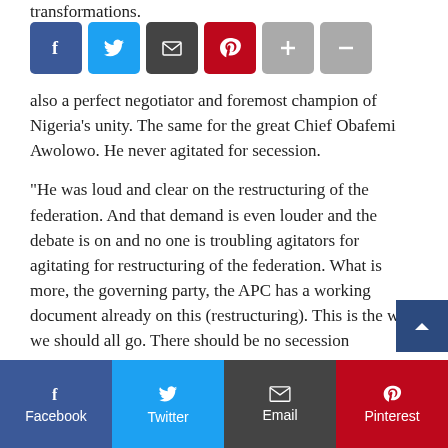transformations.
[Figure (other): Social sharing buttons row: Facebook (blue), Twitter (light blue), Email (dark gray), Pinterest (red), plus (+) and minus (-) buttons (gray)]
also a perfect negotiator and foremost champion of Nigeria’s unity. The same for the great Chief Obafemi Awolowo. He never agitated for secession.
“He was loud and clear on the restructuring of the federation. And that demand is even louder and the debate is on and no one is troubling agitators for agitating for restructuring of the federation. What is more, the governing party, the APC has a working document already on this (restructuring). This is the way we should all go. There should be no secession distraction at this time,” Ganduje stated.
[Figure (other): Bottom social sharing bar with Facebook, Twitter, Email, and Pinterest buttons]